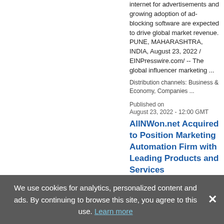internet for advertisements and growing adoption of ad-blocking software are expected to drive global market revenue. PUNE, MAHARASHTRA, INDIA, August 23, 2022 / EINPresswire.com/ -- The global influencer marketing ...
Distribution channels: Business & Economy, Companies ...
Published on
August 23, 2022 - 12:00 GMT
AllNWon.net Acquired to Position Marketing Automation Firm with Leading Products and Services
HOUSTON, TX, UNITED STATES, August 23, 2022 / EINPresswire.com/
We use cookies for analytics, personalized content and ads. By continuing to browse this site, you agree to this use. Learn more